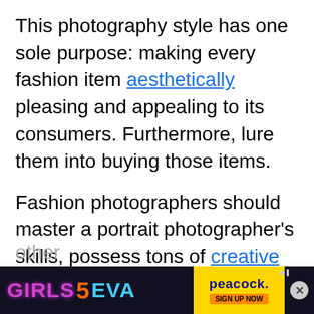This photography style has one sole purpose: making every fashion item aesthetically pleasing and appealing to its consumers. Furthermore, lure them into buying those items.
Fashion photographers should master a portrait photographer's skills, possess tons of creative ideas in the back of their head, and love to collaborate with stylists, creative directors, models, and other
[Figure (screenshot): Advertisement banner for Girls5Eva on Peacock streaming service with a dark background, colorful stylized text, Peacock logo, and sign up now button. An X close button is visible on the right.]